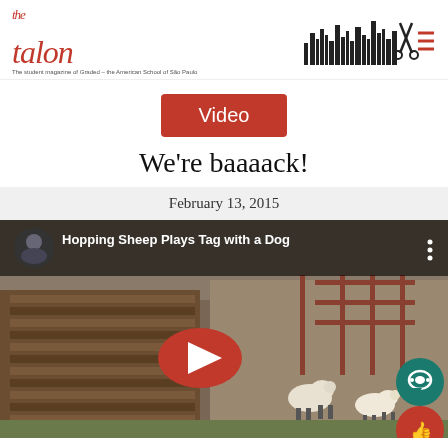[Figure (logo): The Talon logo - student magazine of Graded, The American School of Sao Paulo, with city skyline graphic on right]
Video
We're baaaack!
February 13, 2015
[Figure (screenshot): YouTube video thumbnail showing 'Hopping Sheep Plays Tag with a Dog' with sheep in a farm setting, YouTube play button overlay, chat and like buttons on right side]